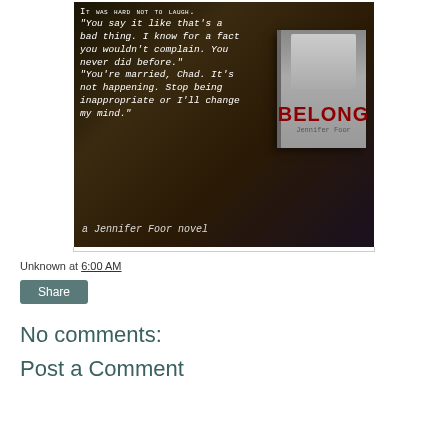[Figure (illustration): Book promotional image for 'Belong' by Jennifer Foor. Dark background with handwritten-style quote text: 'It was hard not to laugh. "You say it like that's a bad thing. I know for a fact you wouldn't complain. You never did before." "You're married, Chad. It's not happening. Stop being inappropriate or I'll change my mind."' alongside a book cover featuring a black-and-white photo of a person and the title 'BELONG' in red letters, with caption 'a Jennifer Foor novel'.]
Unknown at 6:00 AM
Share
No comments:
Post a Comment